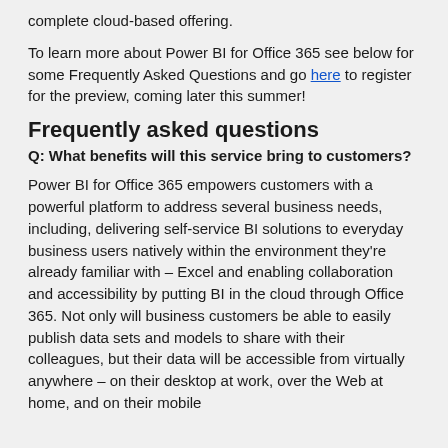complete cloud-based offering.
To learn more about Power BI for Office 365 see below for some Frequently Asked Questions and go here to register for the preview, coming later this summer!
Frequently asked questions
Q: What benefits will this service bring to customers?
Power BI for Office 365 empowers customers with a powerful platform to address several business needs, including, delivering self-service BI solutions to everyday business users natively within the environment they're already familiar with – Excel and enabling collaboration and accessibility by putting BI in the cloud through Office 365. Not only will business customers be able to easily publish data sets and models to share with their colleagues, but their data will be accessible from virtually anywhere – on their desktop at work, over the Web at home, and on their mobile